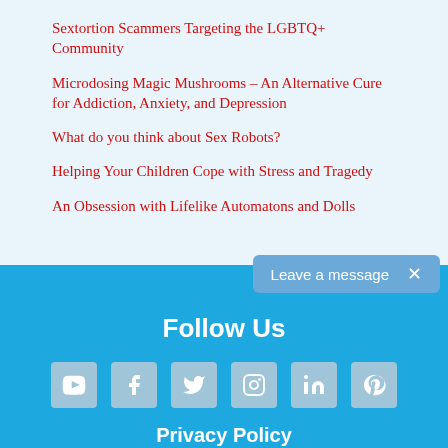Sextortion Scammers Targeting the LGBTQ+ Community
Microdosing Magic Mushrooms – An Alternative Cure for Addiction, Anxiety, and Depression
What do you think about Sex Robots?
Helping Your Children Cope with Stress and Tragedy
An Obsession with Lifelike Automatons and Dolls
Leave a message ×
Follow Us
[Figure (infographic): Row of 6 social media icon buttons: YouTube, Facebook, Twitter, Instagram, LinkedIn, Pinterest]
Privacy Policy
Terms of Use